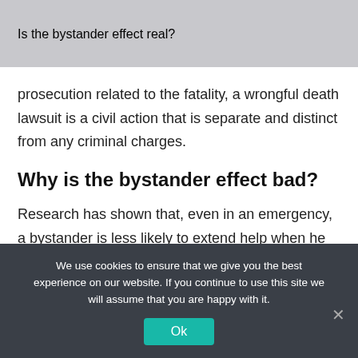Is the bystander effect real?
prosecution related to the fatality, a wrongful death lawsuit is a civil action that is separate and distinct from any criminal charges.
Why is the bystander effect bad?
Research has shown that, even in an emergency, a bystander is less likely to extend help when he or she is in the real or imagined presence of others than when he or she is alone. …
We use cookies to ensure that we give you the best experience on our website. If you continue to use this site we will assume that you are happy with it.